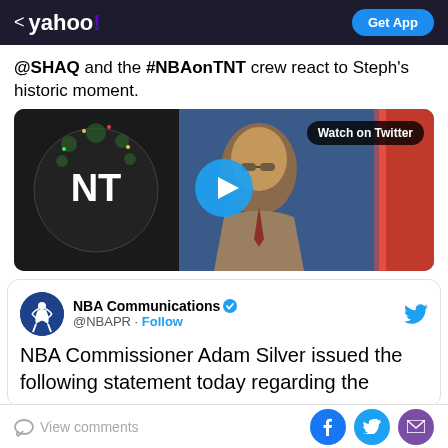< yahoo!   Get App
@SHAQ and the #NBAonTNT crew react to Steph's historic moment.
[Figure (screenshot): Video thumbnail showing a man in a suit on the NBA on TNT set, with a play button overlay and 'Watch on Twitter' label.]
NBA Communications @NBAPR · Follow
NBA Commissioner Adam Silver issued the following statement today regarding the
View comments  [Facebook] [Twitter] [Email]